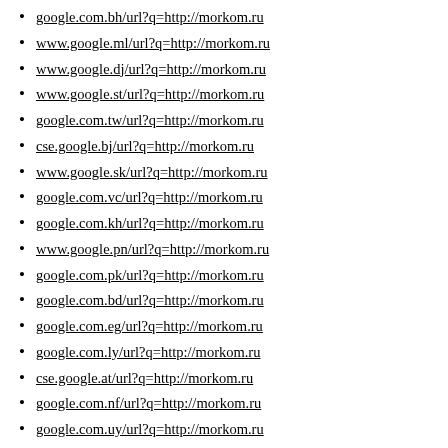google.com.bh/url?q=http://morkom.ru
www.google.ml/url?q=http://morkom.ru
www.google.dj/url?q=http://morkom.ru
www.google.st/url?q=http://morkom.ru
google.com.tw/url?q=http://morkom.ru
cse.google.bj/url?q=http://morkom.ru
www.google.sk/url?q=http://morkom.ru
google.com.vc/url?q=http://morkom.ru
google.com.kh/url?q=http://morkom.ru
www.google.pn/url?q=http://morkom.ru
google.com.pk/url?q=http://morkom.ru
google.com.bd/url?q=http://morkom.ru
google.com.eg/url?q=http://morkom.ru
google.com.ly/url?q=http://morkom.ru
cse.google.at/url?q=http://morkom.ru
google.com.nf/url?q=http://morkom.ru
google.com.uy/url?q=http://morkom.ru
cse.google.as/url?q=http://morkom.ru
www.google.nl/url?q=http://morkom.ru